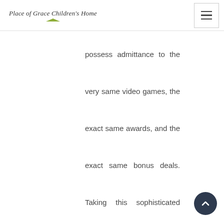Place of Grace Children's Home
possess admittance to the very same video games, the exact same awards, and the exact same bonus deals. Taking this sophisticated key facts and even edge gamble throughout craps might likely the